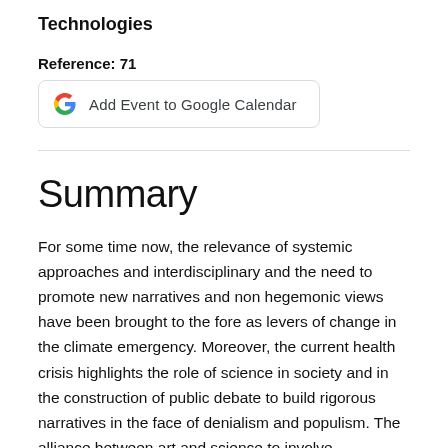Technologies
Reference: 71
[Figure (other): Add Event to Google Calendar button with Google G logo]
Summary
For some time now, the relevance of systemic approaches and interdisciplinary and the need to promote new narratives and non hegemonic views have been brought to the fore as levers of change in the climate emergency. Moreover, the current health crisis highlights the role of science in society and in the construction of public debate to build rigorous narratives in the face of denialism and populism. The alliance between art and science to involve